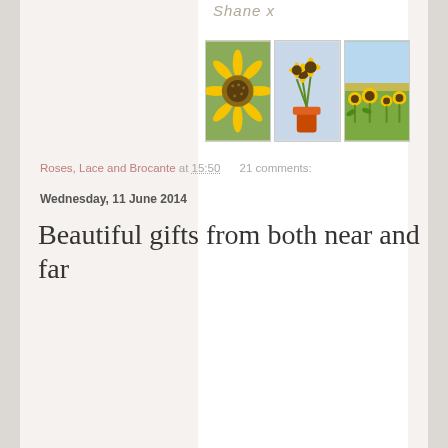Shane x
[Figure (photo): Three photos of sunflowers arranged in a row: a close-up of a single sunflower head, a bouquet of sunflowers in a vase, and a field of sunflowers on a sunny day.]
Roses, Lace and Brocante at 15:50   21 comments:
Wednesday, 11 June 2014
Beautiful gifts from both near and far